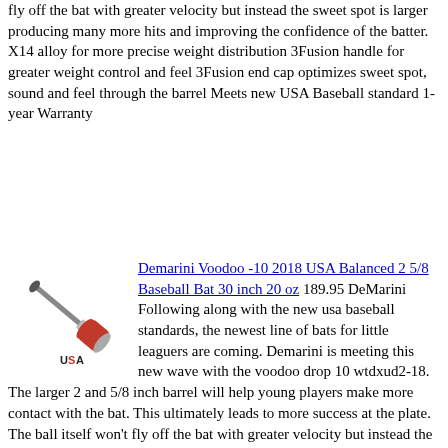fly off the bat with greater velocity but instead the sweet spot is larger producing many more hits and improving the confidence of the batter.   X14 alloy for more precise weight distribution 3Fusion handle for greater weight control and feel 3Fusion end cap optimizes sweet spot, sound and feel through the barrel Meets new USA Baseball standard 1-year Warranty
[Figure (photo): Baseball bat (DeMarini Voodoo) shown at an angle with red handle section and USA Baseball logo label beneath]
Demarini Voodoo -10 2018 USA Balanced 2 5/8 Baseball Bat 30 inch 20 oz 189.95 DeMarini Following along with the new usa baseball standards, the newest line of bats for little leaguers are coming. Demarini is meeting this new wave with the voodoo drop 10 wtdxud2-18. The larger 2 and 5/8 inch barrel will help young players make more contact with the bat. This ultimately leads to more success at the plate. The ball itself won't fly off the bat with greater velocity but instead the sweet spot is larger producing many more hits and improving the confidence of the bater.   X14 alloy for more precise weight distribution 3Fusion handle for greater weight control and feel 3Fusion end cap